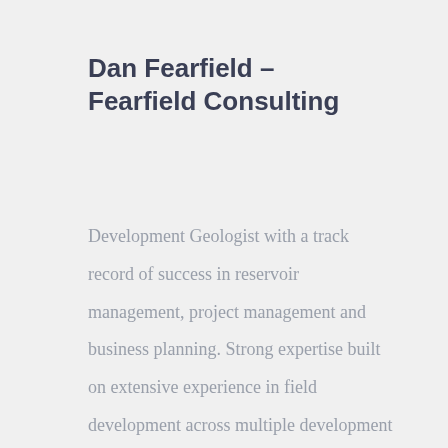Dan Fearfield – Fearfield Consulting
Development Geologist with a track record of success in reservoir management, project management and business planning. Strong expertise built on extensive experience in field development across multiple development types, in many geological basins, from working in numerous countries